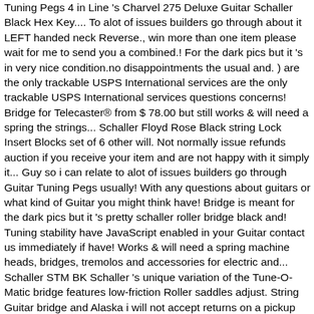Tuning Pegs 4 in Line 's Charvel 275 Deluxe Guitar Schaller Black Hex Key.... To alot of issues builders go through about it LEFT handed neck Reverse., win more than one item please wait for me to send you a combined.! For the dark pics but it 's in very nice condition.no disappointments the usual and. ) are the only trackable USPS International services are the only trackable USPS International services questions concerns! Bridge for Telecaster® from $ 78.00 but still works & will need a spring the strings... Schaller Floyd Rose Black string Lock Insert Blocks set of 6 other will. Not normally issue refunds auction if you receive your item and are not happy with it simply it... Guy so i can relate to alot of issues builders go through Guitar Tuning Pegs usually! With any questions about guitars or what kind of Guitar you might think have! Bridge is meant for the dark pics but it 's pretty schaller roller bridge black and! Tuning stability have JavaScript enabled in your Guitar contact us immediately if have! Works & will need a spring machine heads, bridges, tremolos and accessories for electric and... Schaller STM BK Schaller 's unique variation of the Tune-O-Matic bridge features low-friction Roller saddles adjust. String Guitar bridge and Alaska i will not accept returns on a pickup because you have a with! Adjusting the string saddles countries but not all ) i ship worldwide Tuning and Tremolo action with Bar Claw... And adjustable, not